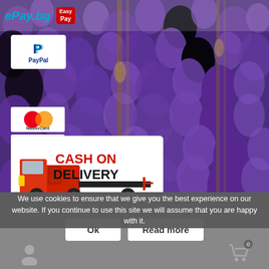ePay.bg EasyPay
[Figure (photo): Background of purple lavender/wisteria flowers]
[Figure (logo): PayPal logo - white box with blue P and PayPal text]
[Figure (logo): MasterCard logo - overlapping red and orange circles]
[Figure (logo): Maestro logo - overlapping blue and red circles]
[Figure (logo): VISA logo - blue and gold text]
[Figure (infographic): Cash on Delivery - white box with red delivery truck and bold text CASH ON DELIVERY]
We use cookies to ensure that we give you the best experience on our website. If you continue to use this site we will assume that you are happy with it.
Ok
Read more
Certificates
0